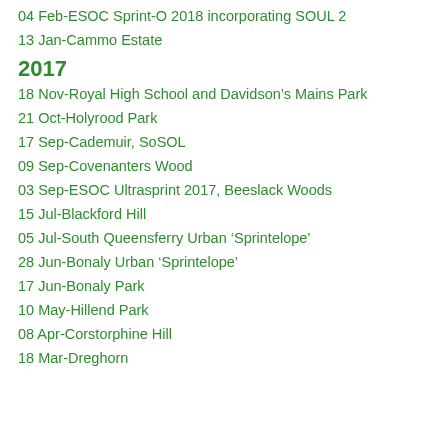04 Feb-ESOC Sprint-O 2018 incorporating SOUL 2
13 Jan-Cammo Estate
2017
18 Nov-Royal High School and Davidson's Mains Park
21 Oct-Holyrood Park
17 Sep-Cademuir, SoSOL
09 Sep-Covenanters Wood
03 Sep-ESOC Ultrasprint 2017, Beeslack Woods
15 Jul-Blackford Hill
05 Jul-South Queensferry Urban ‘Sprintelope’
28 Jun-Bonaly Urban ‘Sprintelope’
17 Jun-Bonaly Park
10 May-Hillend Park
08 Apr-Corstorphine Hill
18 Mar-Dreghorn